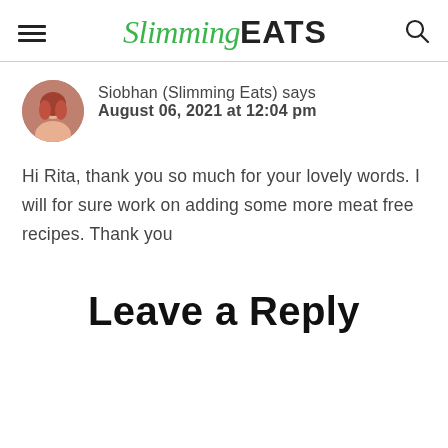Slimming EATS
Siobhan (Slimming Eats) says
August 06, 2021 at 12:04 pm
Hi Rita, thank you so much for your lovely words. I will for sure work on adding some more meat free recipes. Thank you
Leave a Reply